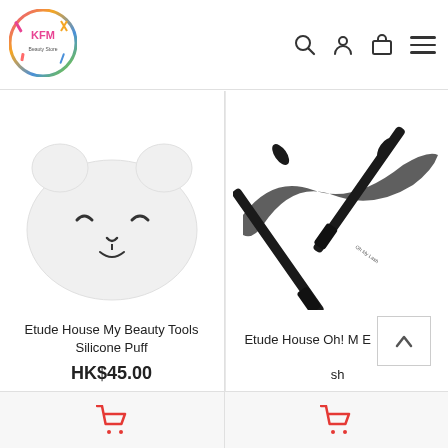[Figure (logo): KFM beauty store circular logo with colorful makeup tools]
[Figure (photo): Cat-shaped white silicone makeup puff sponge]
Etude House My Beauty Tools Silicone Puff
HK$45.00
[Figure (photo): Two black mascara wands crossed with black mascara brush stroke behind them]
Etude House Oh! M E sh
HK$68.00